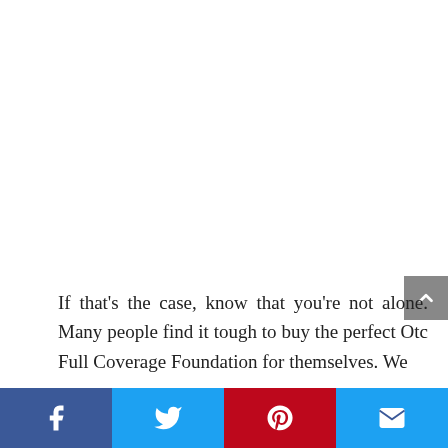If that's the case, know that you're not alone. Many people find it tough to buy the perfect Otc Full Coverage Foundation for themselves. We
Social share bar with Facebook, Twitter, Pinterest, and Email buttons